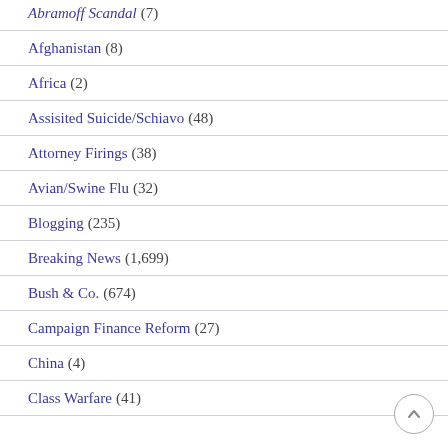Abramoff Scandal (7)
Afghanistan (8)
Africa (2)
Assisited Suicide/Schiavo (48)
Attorney Firings (38)
Avian/Swine Flu (32)
Blogging (235)
Breaking News (1,699)
Bush & Co. (674)
Campaign Finance Reform (27)
China (4)
Class Warfare (41)